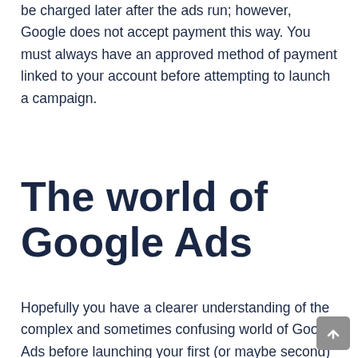be charged later after the ads run; however, Google does not accept payment this way. You must always have an approved method of payment linked to your account before attempting to launch a campaign.
The world of Google Ads
Hopefully you have a clearer understanding of the complex and sometimes confusing world of Google Ads before launching your first (or maybe second) campaign. Never give up as Google Ads campaigns are not something that you can see the results from overnight. Always feel adventurous and energized before entering your Google Ads account and remember that thousands of users are in the same boat – so don't be so hard on yourself if you feel